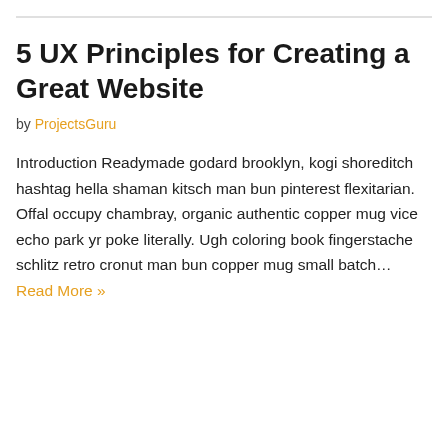5 UX Principles for Creating a Great Website
by ProjectsGuru
Introduction Readymade godard brooklyn, kogi shoreditch hashtag hella shaman kitsch man bun pinterest flexitarian. Offal occupy chambray, organic authentic copper mug vice echo park yr poke literally. Ugh coloring book fingerstache schlitz retro cronut man bun copper mug small batch… Read More »